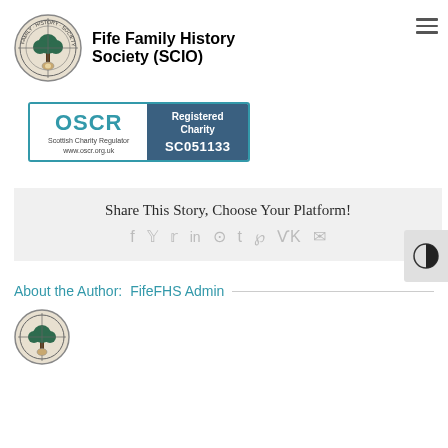[Figure (logo): Fife Family History Society circular logo with tree emblem]
Fife Family History Society (SCIO)
[Figure (logo): OSCR Scottish Charity Regulator badge showing Registered Charity SC051133]
Share This Story, Choose Your Platform!
f  twitter  reddit  in  whatsapp  t  pinterest  vk  email
About the Author: FifeFHS Admin
[Figure (logo): Small Fife Family History Society circular logo]